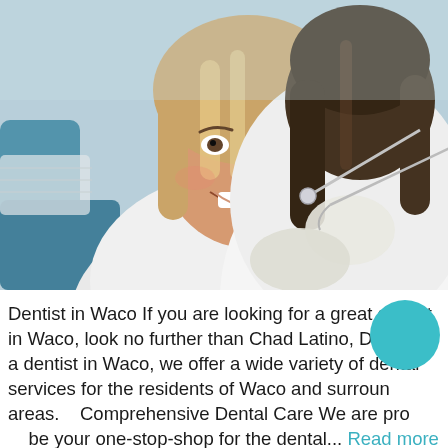[Figure (photo): A smiling female patient reclining in a dental chair being examined by a dentist in a white coat wearing gloves and holding dental instruments. The photo is taken from behind the dentist's shoulder.]
Dentist in Waco If you are looking for a great dentist in Waco, look no further than Chad Latino, DDS. As a dentist in Waco, we offer a wide variety of dental services for the residents of Waco and surrounding areas.    Comprehensive Dental Care We are proud to be your one-stop-shop for the dental... Read more »